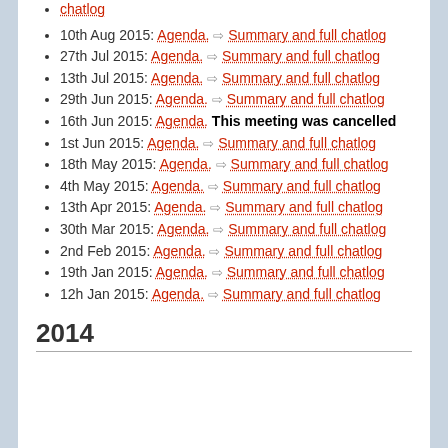chatlog
10th Aug 2015: Agenda. ⇒ Summary and full chatlog
27th Jul 2015: Agenda. ⇒ Summary and full chatlog
13th Jul 2015: Agenda. ⇒ Summary and full chatlog
29th Jun 2015: Agenda. ⇒ Summary and full chatlog
16th Jun 2015: Agenda. This meeting was cancelled
1st Jun 2015: Agenda. ⇒ Summary and full chatlog
18th May 2015: Agenda. ⇒ Summary and full chatlog
4th May 2015: Agenda. ⇒ Summary and full chatlog
13th Apr 2015: Agenda. ⇒ Summary and full chatlog
30th Mar 2015: Agenda. ⇒ Summary and full chatlog
2nd Feb 2015: Agenda. ⇒ Summary and full chatlog
19th Jan 2015: Agenda. ⇒ Summary and full chatlog
12h Jan 2015: Agenda. ⇒ Summary and full chatlog
2014